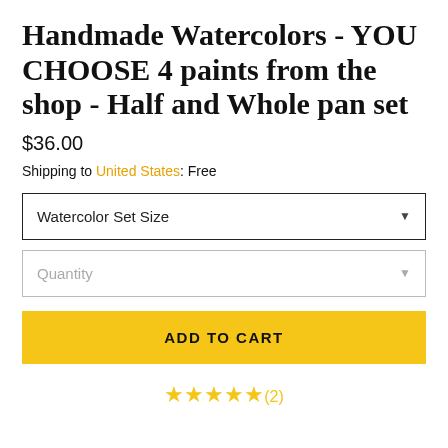Handmade Watercolors - YOU CHOOSE 4 paints from the shop - Half and Whole pan set
$36.00
Shipping to United States: Free
Watercolor Set Size
Quantity
ADD TO CART
★★★★★(2)